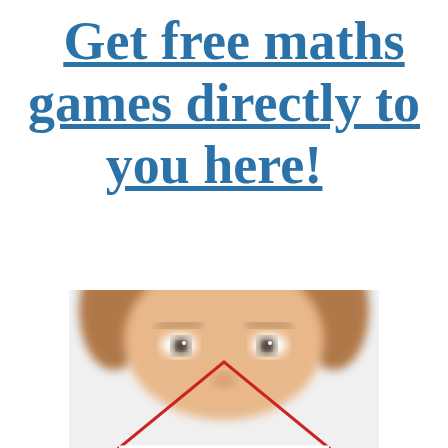Get free maths games directly to you here!
[Figure (photo): A young child's face (blurred) with a red triangle/geometric shape overlaid in the lower portion of the image]